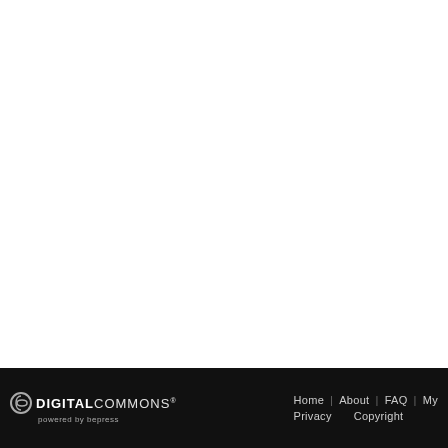DIGITALCOMMONS® powered by bepress   Home | About | FAQ | My   Privacy   Copyright